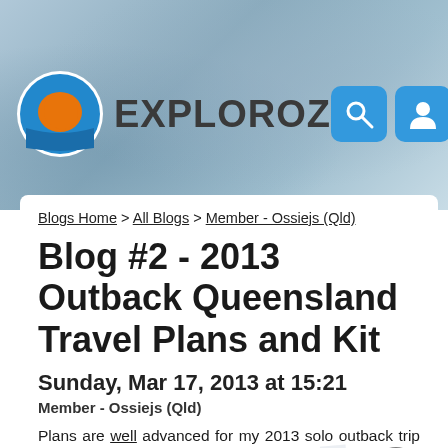[Figure (logo): ExplorOz website header with logo (orange kangaroo/map on blue circle), brand name EXPLOROZ, and navigation buttons (search, user, menu) on a blurred blue denim background]
Blogs Home > All Blogs > Member - Ossiejs (Qld)
Blog #2 - 2013 Outback Queensland Travel Plans and Kit
Sunday, Mar 17, 2013 at 15:21
Member - Ossiejs (Qld)
Plans are well advanced for my 2013 solo outback trip and further exploration of the sights and places this country has to offer – weather permitting. Cooper Creek in flood might be awesome, but … I intend to see Queensland first.